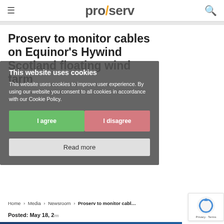proserv
Proserv to monitor cables on Equinor's Hywind Scotland floating wind farm
This website uses cookies
This website uses cookies to improve user experience. By using our website you consent to all cookies in accordance with our Cookie Policy.
Home > Media > Newsroom > Proserv to monitor cabl...
Posted: May 18, 2... Read more